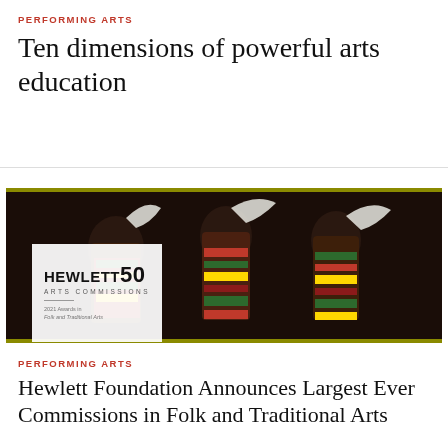PERFORMING ARTS
Ten dimensions of powerful arts education
[Figure (photo): Three performers in colorful kente cloth traditional attire dancing on a dark stage, waving white cloths. A white overlay box shows the Hewlett 50 Arts Commissions logo with text '2021 Awards in Folk and Traditional Arts'.]
PERFORMING ARTS
Hewlett Foundation Announces Largest Ever Commissions in Folk and Traditional Arts